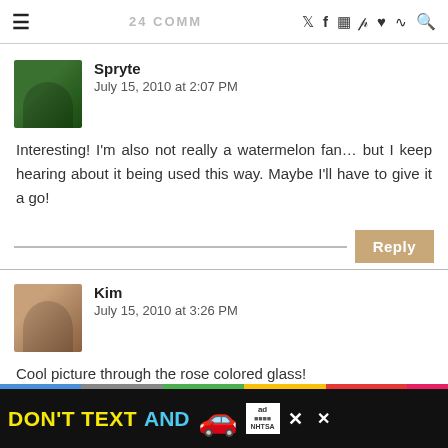24 COMM [social media icons]
Spryte
July 15, 2010 at 2:07 PM
Interesting! I'm also not really a watermelon fan... but I keep hearing about it being used this way. Maybe I'll have to give it a go!
Kim
July 15, 2010 at 3:26 PM
Cool picture through the rose colored glass!
I like watermelon, but I rarely buy it just becau
[Figure (infographic): Ad banner: DON'T TEXT AND [car emoji] with ad/NHTSA logo and close buttons]